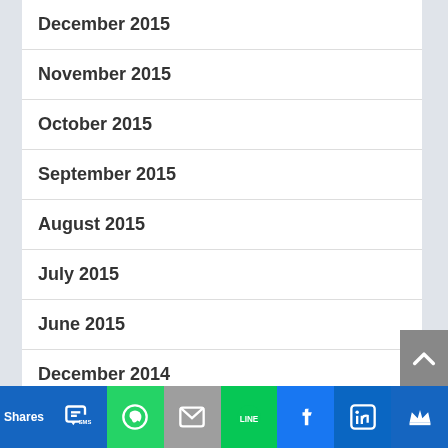December 2015
November 2015
October 2015
September 2015
August 2015
July 2015
June 2015
December 2014